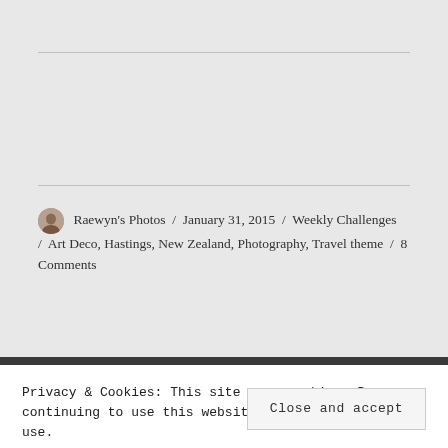Raewyn's Photos / January 31, 2015 / Weekly Challenges / Art Deco, Hastings, New Zealand, Photography, Travel theme / 8 Comments
Privacy & Cookies: This site uses cookies. By continuing to use this website, you agree to their use. To find out more, including how to control cookies, see here: Cookie Policy
Close and accept